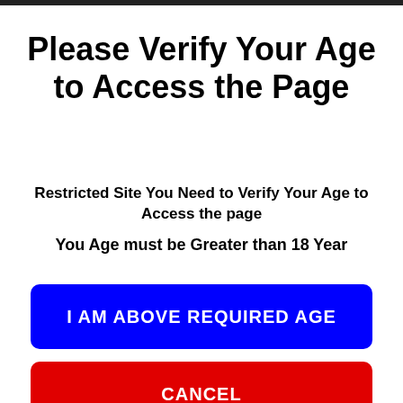Please Verify Your Age to Access the Page
Restricted Site You Need to Verify Your Age to Access the page
You Age must be Greater than 18 Year
I AM ABOVE REQUIRED AGE
CANCEL